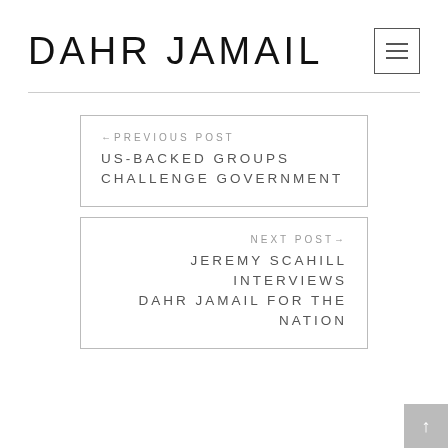DAHR JAMAIL
← PREVIOUS POST
US-BACKED GROUPS CHALLENGE GOVERNMENT
NEXT POST →
JEREMY SCAHILL INTERVIEWS DAHR JAMAIL FOR THE NATION